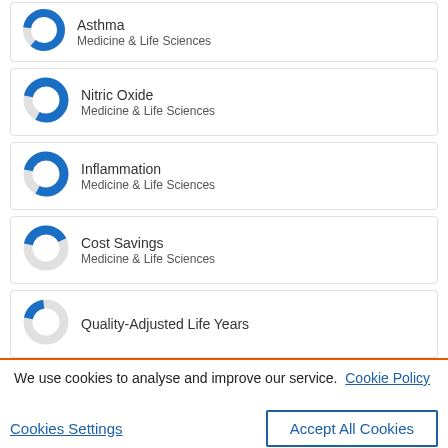[Figure (donut-chart): Donut chart for Asthma topic, mostly blue filled]
Asthma
Medicine & Life Sciences
[Figure (donut-chart): Donut chart for Nitric Oxide topic, mostly blue filled]
Nitric Oxide
Medicine & Life Sciences
[Figure (donut-chart): Donut chart for Inflammation topic, mostly blue filled]
Inflammation
Medicine & Life Sciences
[Figure (donut-chart): Donut chart for Cost Savings topic, partially blue filled]
Cost Savings
Medicine & Life Sciences
[Figure (donut-chart): Donut chart for Quality-Adjusted Life Years, small blue segment]
Quality-Adjusted Life Years
We use cookies to analyse and improve our service. Cookie Policy
Cookies Settings
Accept All Cookies